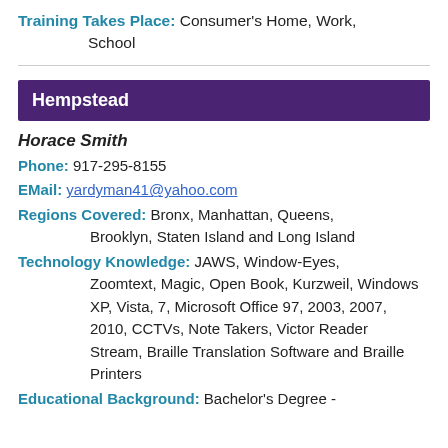Training Takes Place: Consumer's Home, Work, School
Hempstead
Horace Smith
Phone: 917-295-8155
EMail: yardyman41@yahoo.com
Regions Covered: Bronx, Manhattan, Queens, Brooklyn, Staten Island and Long Island
Technology Knowledge: JAWS, Window-Eyes, Zoomtext, Magic, Open Book, Kurzweil, Windows XP, Vista, 7, Microsoft Office 97, 2003, 2007, 2010, CCTVs, Note Takers, Victor Reader Stream, Braille Translation Software and Braille Printers
Educational Background: Bachelor's Degree -